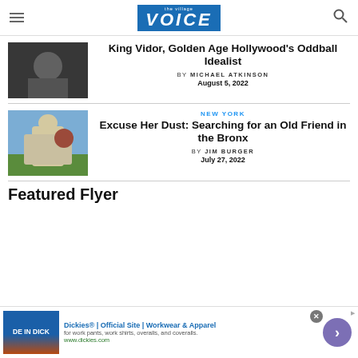the village VOICE
[Figure (photo): Black and white photo of a person]
King Vidor, Golden Age Hollywood's Oddball Idealist
by MICHAEL ATKINSON
August 5, 2022
[Figure (photo): Photo of a monument/statue in a cemetery]
NEW YORK
Excuse Her Dust: Searching for an Old Friend in the Bronx
by JIM BURGER
July 27, 2022
Featured Flyer
[Figure (screenshot): Dickies advertisement banner: Dickies® | Official Site | Workwear & Apparel, for work pants, work shirts, overalls, and coveralls. www.dickies.com]